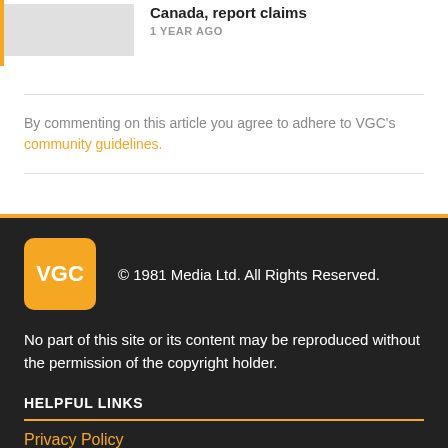Canada, report claims
1 YEAR AGO
By commenting on this article you agree to adhere to VGC's community guidelines.
[Figure (logo): VGC orange square logo with text VGC in white]
© 1981 Media Ltd. All Rights Reserved.
No part of this site or its content may be reproduced without the permission of the copyright holder.
HELPFUL LINKS
Privacy Policy
About Us
Code of Conduct